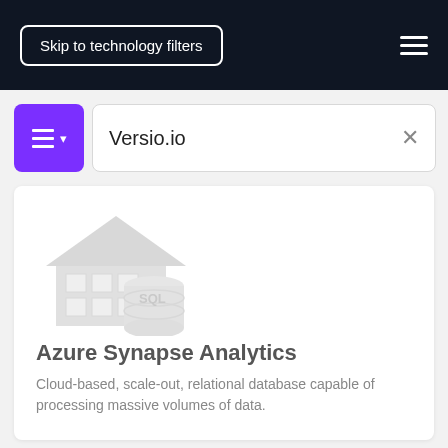Skip to technology filters
Versio.io
[Figure (logo): Azure Synapse Analytics icon: a grey warehouse/house icon combined with a grey SQL database cylinder]
Azure Synapse Analytics
Cloud-based, scale-out, relational database capable of processing massive volumes of data.